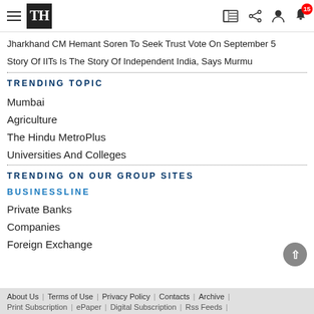The Hindu (TH) — navigation header with hamburger menu, logo, icons for newspaper, share, user, notifications (15)
Jharkhand CM Hemant Soren To Seek Trust Vote On September 5
Story Of IITs Is The Story Of Independent India, Says Murmu
TRENDING TOPIC
Mumbai
Agriculture
The Hindu MetroPlus
Universities And Colleges
TRENDING ON OUR GROUP SITES
BUSINESSLINE
Private Banks
Companies
Foreign Exchange
About Us | Terms of Use | Privacy Policy | Contacts | Archive | Print Subscription | ePaper | Digital Subscription | Rss Feeds |